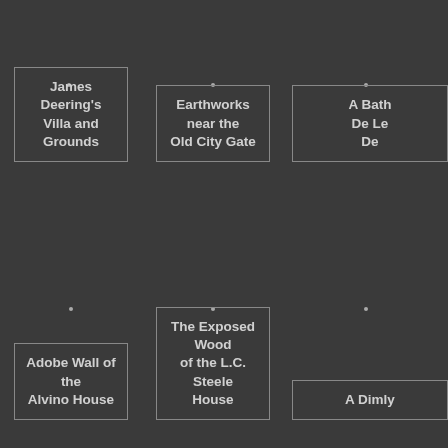[Figure (other): Dark gray background grid cell with label box: James Deering's Villa and Grounds]
James Deering's Villa and Grounds
[Figure (other): Dark gray background grid cell with label box: Earthworks near the Old City Gate]
Earthworks near the Old City Gate
[Figure (other): Dark gray background grid cell with partial label box: A Bath... De Le... De...]
A Bath... De Le... De...
[Figure (other): Dark gray background grid cell with label box: Adobe Wall of the Alvino House]
Adobe Wall of the Alvino House
[Figure (other): Dark gray background grid cell with label box: The Exposed Wood of the L.C. Steele House]
The Exposed Wood of the L.C. Steele House
[Figure (other): Dark gray background grid cell with partial label: A Dimly...]
A Dimly...